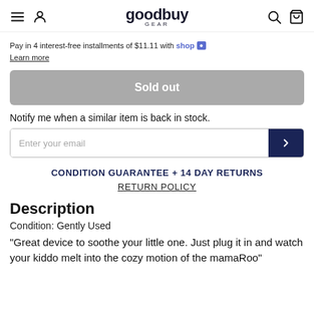goodbuy GEAR (logo with hamburger, user, search, cart icons)
Pay in 4 interest-free installments of $11.11 with shop. Learn more
Sold out
Notify me when a similar item is back in stock.
Enter your email
CONDITION GUARANTEE + 14 DAY RETURNS
RETURN POLICY
Description
Condition: Gently Used
"Great device to soothe your little one. Just plug it in and watch your kiddo melt into the cozy motion of the mamaRoo"